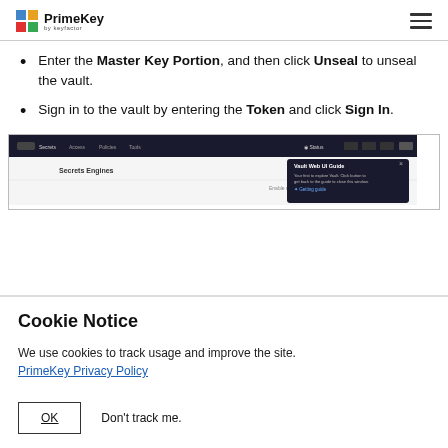PrimeKey by Keyfactor
Enter the Master Key Portion, and then click Unseal to unseal the vault.
Sign in to the vault by entering the Token and click Sign In.
[Figure (screenshot): Screenshot of Vault web UI showing Secrets Engines page with a 'Vault Web UI Guide' tooltip popup in the top right corner.]
Cookie Notice
We use cookies to track usage and improve the site. PrimeKey Privacy Policy
OK    Don't track me.